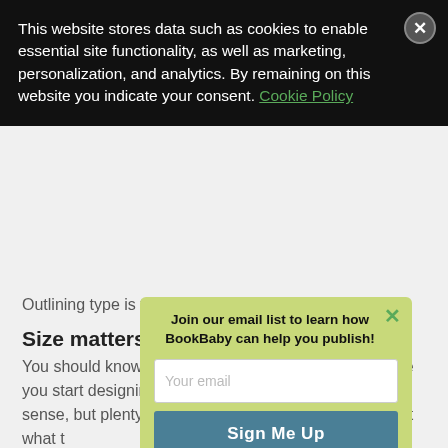This website stores data such as cookies to enable essential site functionality, as well as marketing, personalization, and analytics. By remaining on this website you indicate your consent. Cookie Policy
Outlining type is tricky, who needs it? Nobody.
Size matters
You should know the size of the finished product before you start designing. That might sound like common sense, but plenty of amateurs make the mista[ke of not knowing] what t[he finished product is and the] he dimen[sions of the] book.
[Figure (screenshot): Email signup popup modal with green background, title 'Join our email list to learn how BookBaby can help you publish!', email input field, and 'Sign Me Up' button]
Also, i[...] ver will in[...] y (most[...] ling